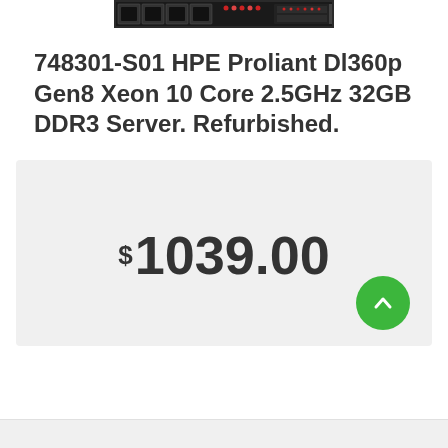[Figure (photo): Partial view of an HPE ProLiant DL360p Gen8 rack server, showing the front panel with drives and indicators.]
748301-S01 HPE Proliant Dl360p Gen8 Xeon 10 Core 2.5GHz 32GB DDR3 Server. Refurbished.
$1039.00